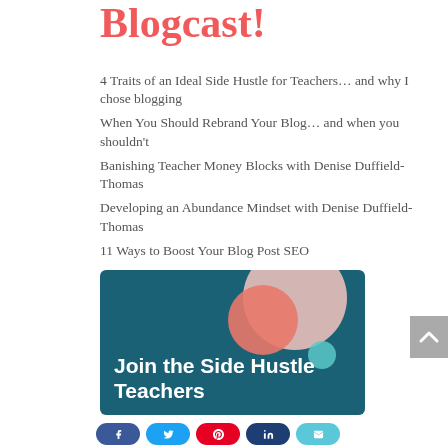Blogcast!
4 Traits of an Ideal Side Hustle for Teachers… and why I chose blogging
When You Should Rebrand Your Blog… and when you shouldn't
Banishing Teacher Money Blocks with Denise Duffield-Thomas
Developing an Abundance Mindset with Denise Duffield-Thomas
11 Ways to Boost Your Blog Post SEO
[Figure (illustration): Dark teal banner with decorative circles (large light pink circle, medium coral/salmon circle, small teal circle) and white bold text reading 'Join the Side Hustle Teachers']
[Figure (infographic): Social share buttons row: Facebook (blue), Twitter (light blue), Pinterest (red), LinkedIn (dark blue), Email (light teal)]